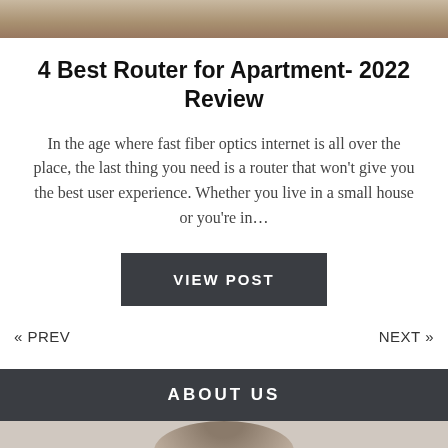[Figure (photo): Partial photo at top of page, cropped — appears to show hands or objects, brown/tan tones]
4 Best Router for Apartment- 2022 Review
In the age where fast fiber optics internet is all over the place, the last thing you need is a router that won't give you the best user experience. Whether you live in a small house or you're in…
VIEW POST
« PREV
NEXT »
ABOUT US
[Figure (photo): Partial photo at bottom showing top of a person's head with dark hair, circular crop on light blue/grey background]